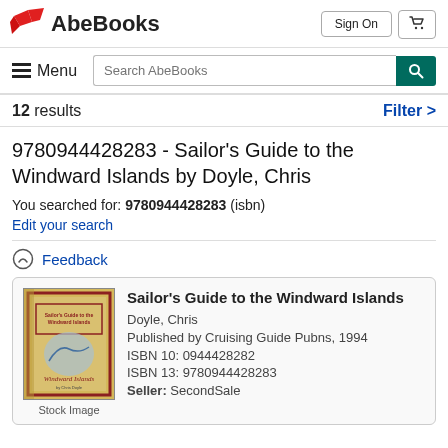AbeBooks — Sign On | Cart
Menu | Search AbeBooks
12 results   Filter >
9780944428283 - Sailor's Guide to the Windward Islands by Doyle, Chris
You searched for: 9780944428283 (isbn)
Edit your search
Feedback
[Figure (photo): Book cover for Sailor's Guide to the Windward Islands, yellow cover with red border, showing a sailing book image]
Stock Image
Sailor's Guide to the Windward Islands
Doyle, Chris
Published by Cruising Guide Pubns, 1994
ISBN 10: 0944428282
ISBN 13: 9780944428283
Seller: SecondSale
Montgomery, U.S.A.